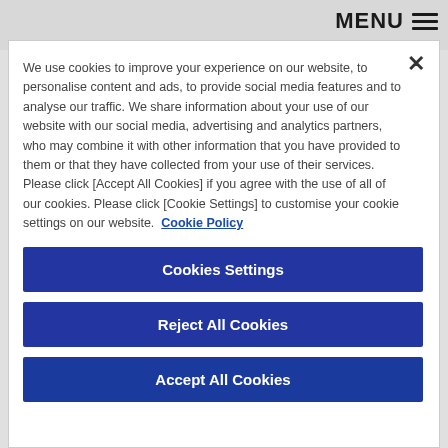MENU ≡
We use cookies to improve your experience on our website, to personalise content and ads, to provide social media features and to analyse our traffic. We share information about your use of our website with our social media, advertising and analytics partners, who may combine it with other information that you have provided to them or that they have collected from your use of their services. Please click [Accept All Cookies] if you agree with the use of all of our cookies. Please click [Cookie Settings] to customise your cookie settings on our website. Cookie Policy
Cookies Settings
Reject All Cookies
Accept All Cookies